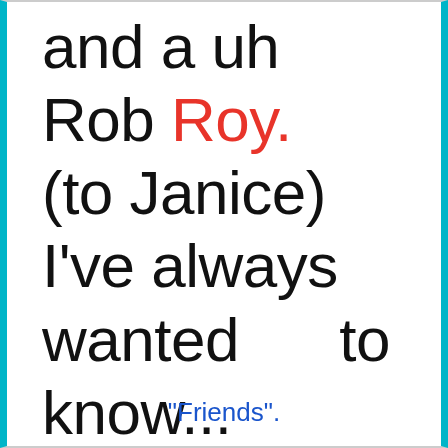and a uh Rob Roy. (to Janice) I've always wanted to know...
"Friends".